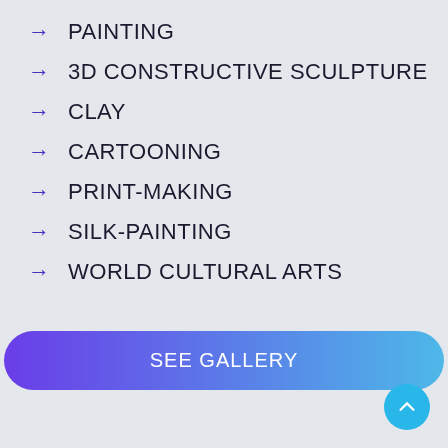PAINTING
3D CONSTRUCTIVE SCULPTURE
CLAY
CARTOONING
PRINT-MAKING
SILK-PAINTING
WORLD CULTURAL ARTS
SEE GALLERY